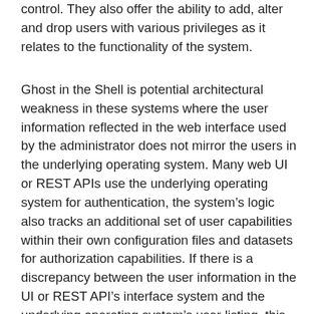control. They also offer the ability to add, alter and drop users with various privileges as it relates to the functionality of the system.
Ghost in the Shell is potential architectural weakness in these systems where the user information reflected in the web interface used by the administrator does not mirror the users in the underlying operating system. Many web UI or REST APIs use the underlying operating system for authentication, the system's logic also tracks an additional set of user capabilities within their own configuration files and datasets for authorization capabilities. If there is a discrepancy between the user information in the UI or REST API's interface system and the underlying operating system's user listing, this may create a weakness in the system. The user information in the underlying operating system can be manipulated in ways that will not reflect back to the administrator's interface to the system. This allows a malicious user to insert an account into the base operating